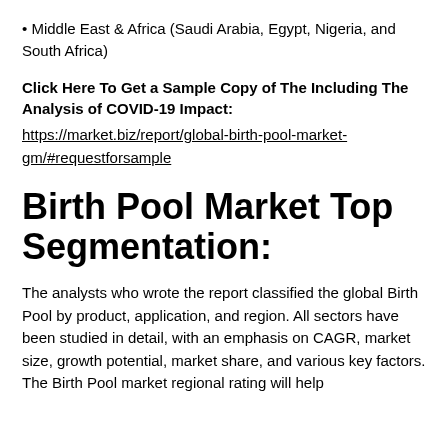• Middle East & Africa (Saudi Arabia, Egypt, Nigeria, and South Africa)
Click Here To Get a Sample Copy of The Including The Analysis of COVID-19 Impact:
https://market.biz/report/global-birth-pool-market-gm/#requestforsample
Birth Pool Market Top Segmentation:
The analysts who wrote the report classified the global Birth Pool by product, application, and region. All sectors have been studied in detail, with an emphasis on CAGR, market size, growth potential, market share, and various key factors. The Birth Pool market regional rating will help